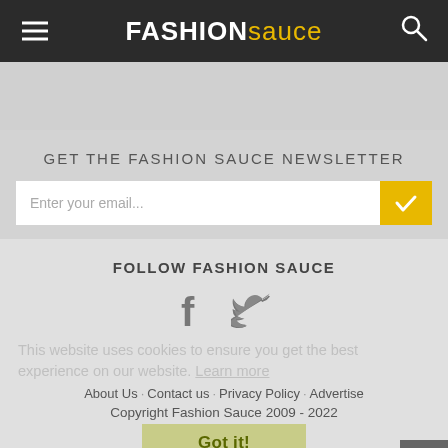FASHION sauce
GET THE FASHION SAUCE NEWSLETTER
Enter your email...
FOLLOW FASHION SAUCE
[Figure (illustration): Facebook and Twitter social media icons in gray]
About Us   Contact us   Privacy Policy   Advertise
Copyright Fashion Sauce 2009 - 2022
This website uses cookies to ensure you get the best experience on our website. Learn more
Got it!
Please note we are affiliated with some of the stores we feature.